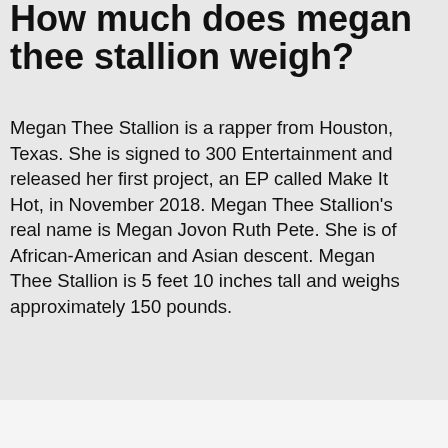How much does megan thee stallion weigh?
Megan Thee Stallion is a rapper from Houston, Texas. She is signed to 300 Entertainment and released her first project, an EP called Make It Hot, in November 2018. Megan Thee Stallion's real name is Megan Jovon Ruth Pete. She is of African-American and Asian descent. Megan Thee Stallion is 5 feet 10 inches tall and weighs approximately 150 pounds.